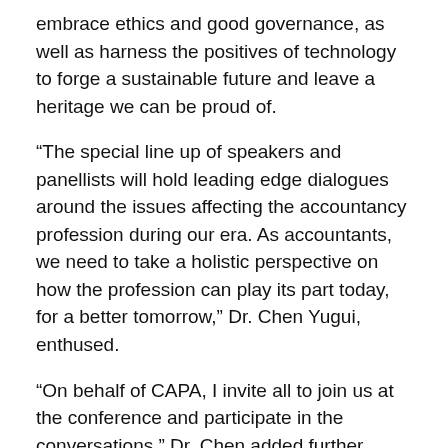embrace ethics and good governance, as well as harness the positives of technology to forge a sustainable future and leave a heritage we can be proud of.
“The special line up of speakers and panellists will hold leading edge dialogues around the issues affecting the accountancy profession during our era. As accountants, we need to take a holistic perspective on how the profession can play its part today, for a better tomorrow,” Dr. Chen Yugui, enthused.
“On behalf of CAPA, I invite all to join us at the conference and participate in the conversations,” Dr. Chen added further.
According to CAPA Chief Executive, Brian Blood, “this will be the first CAPA Conference hosted by CA Sri Lanka since it became our member in 1960.”
“What makes it more exciting is that CA Sri Lanka will be staging its 41st National Conference alongside the CAPA Conference, allowing local and international delegates to participate in both conferences simultaneously. On behalf of CAPA, I would like to thank CA Sri